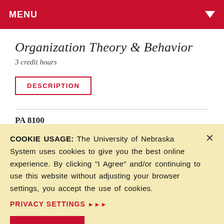MENU
Organization Theory & Behavior
3 credit hours
DESCRIPTION
PA 8100
COOKIE USAGE: The University of Nebraska System uses cookies to give you the best online experience. By clicking "I Agree" and/or continuing to use this website without adjusting your browser settings, you accept the use of cookies.
PRIVACY SETTINGS ▶▶▶
I ACCEPT